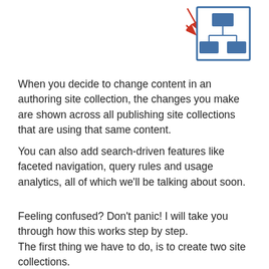[Figure (organizational-chart): A network/hierarchy diagram icon showing a tree structure with boxes connected by lines, inside a blue-bordered square. A red arrow points to it from the upper left.]
When you decide to change content in an authoring site collection, the changes you make are shown across all publishing site collections that are using that same content.
You can also add search-driven features like faceted navigation, query rules and usage analytics, all of which we'll be talking about soon.
Feeling confused? Don't panic! I will take you through how this works step by step.
The first thing we have to do, is to create two site collections.